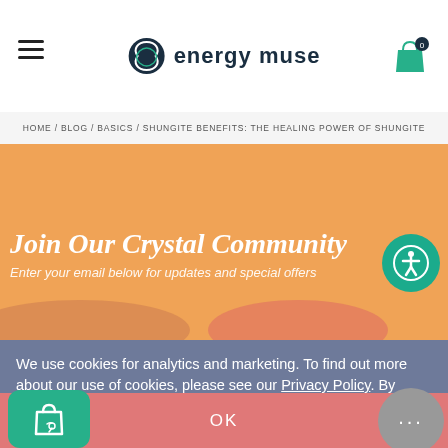energy muse
HOME / BLOG / BASICS / SHUNGITE BENEFITS: THE HEALING POWER OF SHUNGITE
[Figure (illustration): Orange background hero section with 'Join Our Crystal Community' heading and subtitle 'Enter your email below for updates and special offers', with a teal accessibility icon on the right]
We use cookies for analytics and marketing. To find out more about our use of cookies, please see our Privacy Policy. By continuing to browse our website, you agree to our use of cookies.
OK